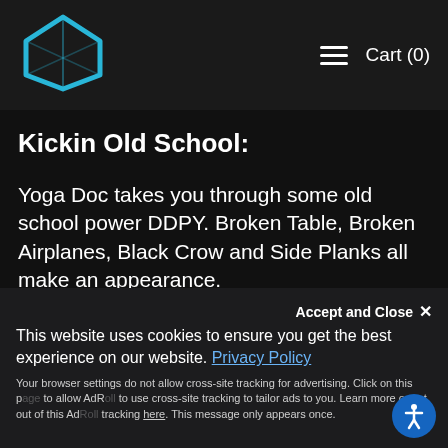[Figure (logo): Diamond-shaped logo in cyan/blue outline on dark background]
Cart (0)
Kickin Old School:
Yoga Doc takes you through some old school power DDPY. Broken Table, Broken Airplanes, Black Crow and Side Planks all make an appearance.
This website uses cookies to ensure you get the best experience on our website. Privacy Policy
Accept and Close ✕
Your browser settings do not allow cross-site tracking for advertising. Click on this page to allow AdRoll to use cross-site tracking to tailor ads to you. Learn more or opt out of this AdRoll tracking here. This message only appears once.